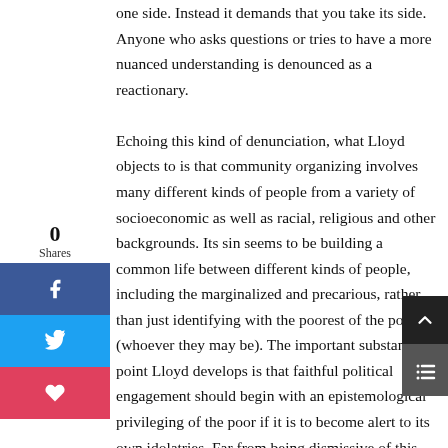one side. Instead it demands that you take its side. Anyone who asks questions or tries to have a more nuanced understanding is denounced as a reactionary.

Echoing this kind of denunciation, what Lloyd objects to is that community organizing involves many different kinds of people from a variety of socioeconomic as well as racial, religious and other backgrounds. Its sin seems to be building a common life between different kinds of people, including the marginalized and precarious, rather than just identifying with the poorest of the poor (whoever they may be). The important substantive point Lloyd develops is that faithful political engagement should begin with an epistemological privileging of the poor if it is to become alert to its own idolatries. Far from being dismissive of this, as Lloyd claims, the book is an attempt to work out what this
[Figure (infographic): Social sharing widget on the left side: shows '0 Shares' counter, Facebook (blue) button with f icon, Twitter (light blue) button with bird icon, and heart/like (red) button. On the right edge: dark scroll-to-top arrow button and a dark menu/list button.]